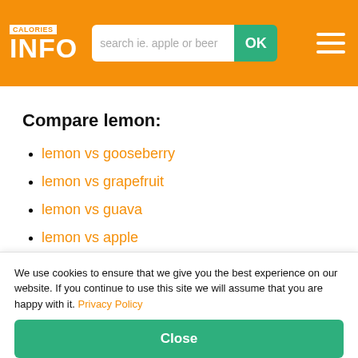CALORIES INFO — search ie. apple or beer — OK
Compare lemon:
lemon vs gooseberry
lemon vs grapefruit
lemon vs guava
lemon vs apple
lemon vs pineapple
lemon vs passion fruit
We use cookies to ensure that we give you the best experience on our website. If you continue to use this site we will assume that you are happy with it. Privacy Policy
Close